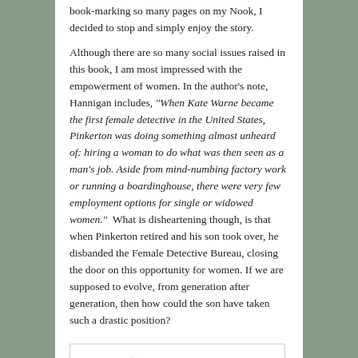book-marking so many pages on my Nook, I decided to stop and simply enjoy the story.
Although there are so many social issues raised in this book, I am most impressed with the empowerment of women. In the author's note, Hannigan includes, “When Kate Warne became the first female detective in the United States, Pinkerton was doing something almost unheard of: hiring a woman to do what was then seen as a man's job. Aside from mind-numbing factory work or running a boardinghouse, there were very few employment options for single or widowed women.”  What is disheartening though, is that when Pinkerton retired and his son took over, he disbanded the Female Detective Bureau, closing the door on this opportunity for women. If we are supposed to evolve, from generation after generation, then how could the son have taken such a drastic position?
[Figure (logo): Celebrate Literacy logo with a colorful striped pyramid/triangle shape and text 'CELEBRATE' above large bold letters partially visible]